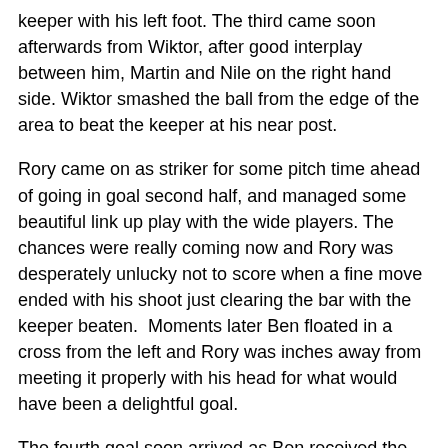keeper with his left foot. The third came soon afterwards from Wiktor, after good interplay between him, Martin and Nile on the right hand side. Wiktor smashed the ball from the edge of the area to beat the keeper at his near post.
Rory came on as striker for some pitch time ahead of going in goal second half, and managed some beautiful link up play with the wide players. The chances were really coming now and Rory was desperately unlucky not to score when a fine move ended with his shoot just clearing the bar with the keeper beaten.  Moments later Ben floated in a cross from the left and Rory was inches away from meeting it properly with his head for what would have been a delightful goal.
The fourth goal soon arrived as Ben received the ball from Gabriel on the left, and, in a carbon copy of his first goal, danced around the Walcountians' defence and slotted past the keeper for his second of the day.
Jakub, who hadn't had much to do in goal first half, swapped